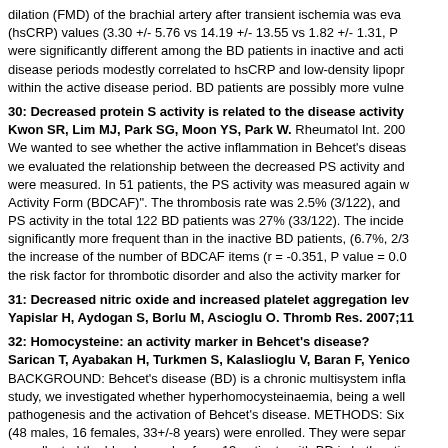dilation (FMD) of the brachial artery after transient ischemia was eva (hsCRP) values (3.30 +/- 5.76 vs 14.19 +/- 13.55 vs 1.82 +/- 1.31, P were significantly different among the BD patients in inactive and acti disease periods modestly correlated to hsCRP and low-density lipopr within the active disease period. BD patients are possibly more vulne
30: Decreased protein S activity is related to the disease activity
Kwon SR, Lim MJ, Park SG, Moon YS, Park W. Rheumatol Int. 200 We wanted to see whether the active inflammation in Behcet's diseas we evaluated the relationship between the decreased PS activity and were measured. In 51 patients, the PS activity was measured again w Activity Form (BDCAF)". The thrombosis rate was 2.5% (3/122), and PS activity in the total 122 BD patients was 27% (33/122). The incide significantly more frequent than in the inactive BD patients, (6.7%, 2/3 the increase of the number of BDCAF items (r = -0.351, P value = 0.0 the risk factor for thrombotic disorder and also the activity marker for
31: Decreased nitric oxide and increased platelet aggregation lev
Yapislar H, Aydogan S, Borlu M, Ascioglu O. Thromb Res. 2007;11
32: Homocysteine: an activity marker in Behcet's disease?
Sarican T, Ayabakan H, Turkmen S, Kalaslioglu V, Baran F, Yenico BACKGROUND: Behcet's disease (BD) is a chronic multisystem infla study, we investigated whether hyperhomocysteinaemia, being a well pathogenesis and the activation of Behcet's disease. METHODS: Six (48 males, 16 females, 33+/-8 years) were enrolled. They were separ we collected the blood samples from 13 patients with BD in both activ negative control group. Serum total homocysteine (Hcy) levels were c